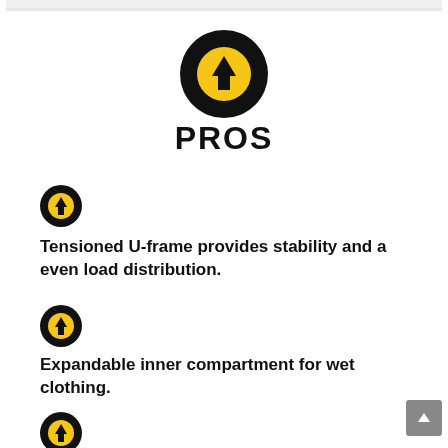[Figure (infographic): Black circle with yellow inner circle and upward arrow icon — PROS section header icon]
PROS
[Figure (infographic): Small black circle with yellow inner circle and upward arrow icon — bullet point icon]
Tensioned U-frame provides stability and a even load distribution.
[Figure (infographic): Small black circle with yellow inner circle and upward arrow icon — bullet point icon]
Expandable inner compartment for wet clothing.
[Figure (infographic): Small black circle with yellow inner circle and upward arrow icon — bullet point icon]